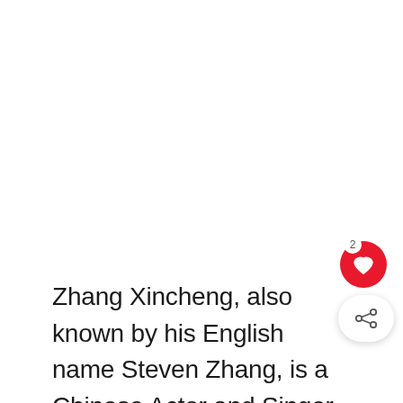Zhang Xincheng, also known by his English name Steven Zhang, is a Chinese Actor and Singer under EE-Media.
He made his film debut in 2013 with the